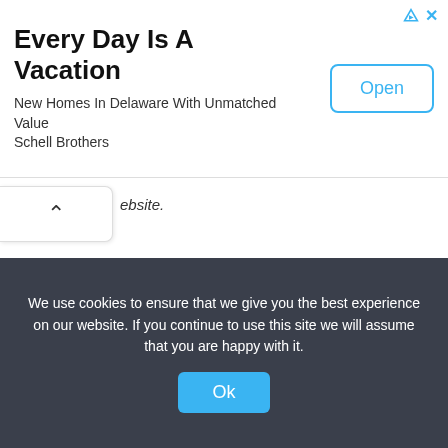[Figure (screenshot): Advertisement banner: 'Every Day Is A Vacation' with subtitle 'New Homes In Delaware With Unmatched Value / Schell Brothers' and an 'Open' button. Ad icons (triangle and X) in top-right.]
ebsite.
Published: October 1918
Please use the comments box below if you can provide more information about this person.
We use cookies to ensure that we give you the best experience on our website. If you continue to use this site we will assume that you are happy with it.